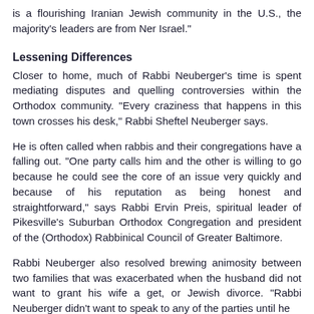is a flourishing Iranian Jewish community in the U.S., the majority's leaders are from Ner Israel."
Lessening Differences
Closer to home, much of Rabbi Neuberger's time is spent mediating disputes and quelling controversies within the Orthodox community. "Every craziness that happens in this town crosses his desk," Rabbi Sheftel Neuberger says.
He is often called when rabbis and their congregations have a falling out. "One party calls him and the other is willing to go because he could see the core of an issue very quickly and because of his reputation as being honest and straightforward," says Rabbi Ervin Preis, spiritual leader of Pikesville's Suburban Orthodox Congregation and president of the (Orthodox) Rabbinical Council of Greater Baltimore.
Rabbi Neuberger also resolved brewing animosity between two families that was exacerbated when the husband did not want to grant his wife a get, or Jewish divorce. "Rabbi Neuberger didn't want to speak to any of the parties until he